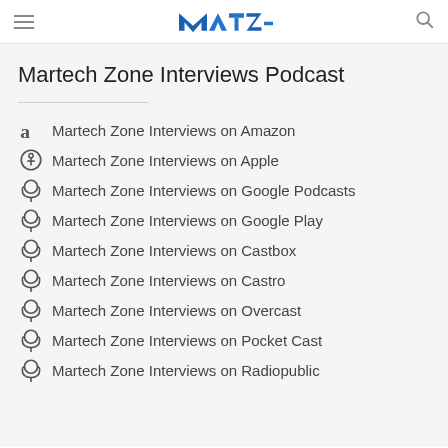Martech Zone (MAZ) logo header with hamburger menu and search icon
Martech Zone Interviews Podcast
Martech Zone Interviews on Amazon
Martech Zone Interviews on Apple
Martech Zone Interviews on Google Podcasts
Martech Zone Interviews on Google Play
Martech Zone Interviews on Castbox
Martech Zone Interviews on Castro
Martech Zone Interviews on Overcast
Martech Zone Interviews on Pocket Cast
Martech Zone Interviews on Radiopublic